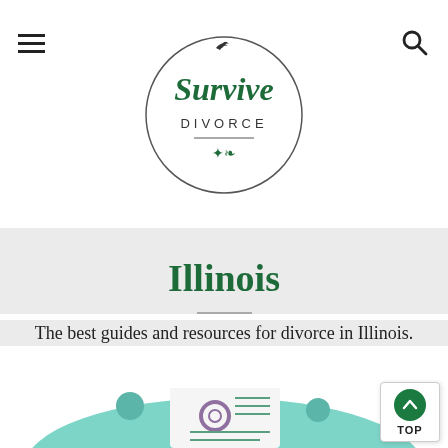Survive Divorce
Illinois
The best guides and resources for divorce in Illinois.
[Figure (illustration): Illustration of two people reviewing a document with a purple seal/stamp, in a teal color scheme]
TOP